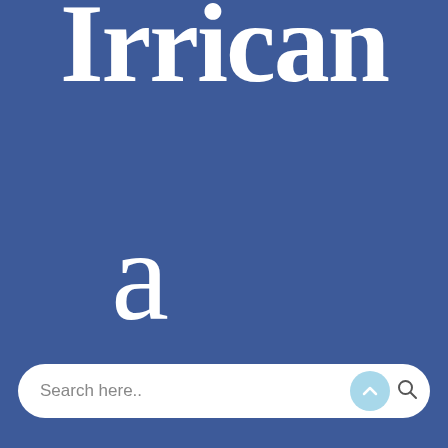Irrican
a
[Figure (screenshot): Search bar with placeholder text 'Search here..', a light blue circle chevron-up button, and a magnifier icon on a white rounded pill background]